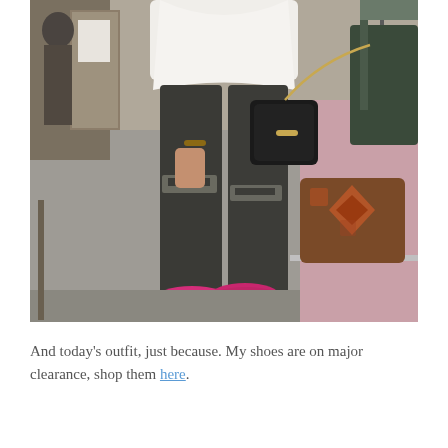[Figure (photo): A person standing in a store dressing room wearing a white loose top, dark ripped skinny jeans, and bright pink pointed-toe flat shoes. They carry a small dark crossbody bag on a gold chain. A patterned ottoman and clothing racks are visible in the background.]
And today's outfit, just because. My shoes are on major clearance, shop them here.